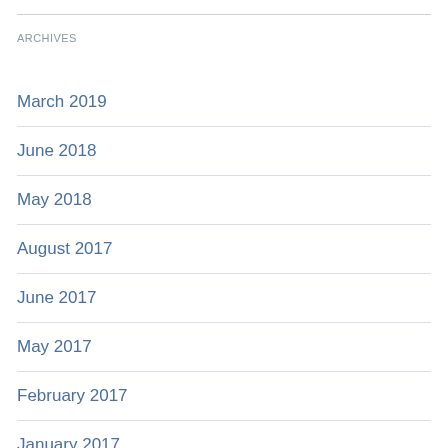ARCHIVES
March 2019
June 2018
May 2018
August 2017
June 2017
May 2017
February 2017
January 2017